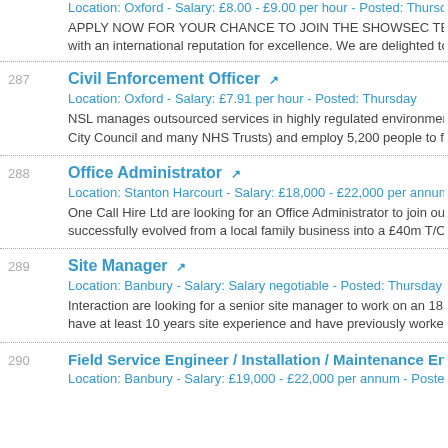Location: Oxford - Salary: £8.00 - £9.00 per hour - Posted: Thursday
APPLY NOW FOR YOUR CHANCE TO JOIN THE SHOWSEC TEAM Sho with an international reputation for excellence. We are delighted to announ
287 Civil Enforcement Officer
Location: Oxford - Salary: £7.91 per hour - Posted: Thursday
NSL manages outsourced services in highly regulated environments used City Council and many NHS Trusts) and employ 5,200 people to fulfil servi
288 Office Administrator
Location: Stanton Harcourt - Salary: £18,000 - £22,000 per annum. - Poste
One Call Hire Ltd are looking for an Office Administrator to join our busy of successfully evolved from a local family business into a £40m T/O Plant H
289 Site Manager
Location: Banbury - Salary: Salary negotiable - Posted: Thursday
Interaction are looking for a senior site manager to work on an 18 month p have at least 10 years site experience and have previously worked on sim
290 Field Service Engineer / Installation / Maintenance Engineer
Location: Banbury - Salary: £19,000 - £22,000 per annum - Posted: Thu